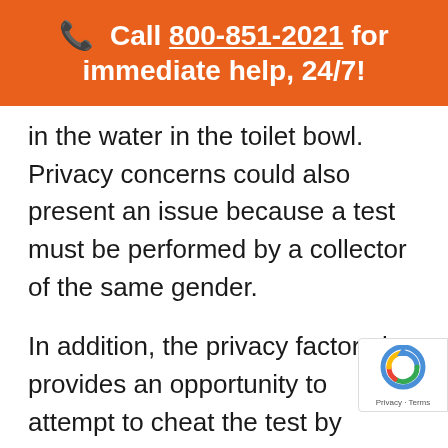📞 Call 800-851-2021 for immediate help, 24/7!
in the water in the toilet bowl. Privacy concerns could also present an issue because a test must be performed by a collector of the same gender.
In addition, the privacy factor also provides an opportunity to attempt to cheat the test by adding adulterants, which creates a negative dillute or positive dillute drug test result, or even